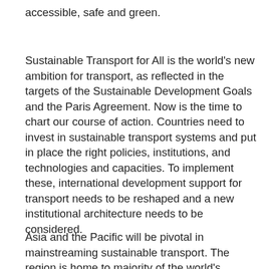accessible, safe and green.
Sustainable Transport for All is the world's new ambition for transport, as reflected in the targets of the Sustainable Development Goals and the Paris Agreement. Now is the time to chart our course of action. Countries need to invest in sustainable transport systems and put in place the right policies, institutions, and technologies and capacities. To implement these, international development support for transport needs to be reshaped and a new institutional architecture needs to be considered.
Asia and the Pacific will be pivotal in mainstreaming sustainable transport. The region is home to majority of the world's population and has